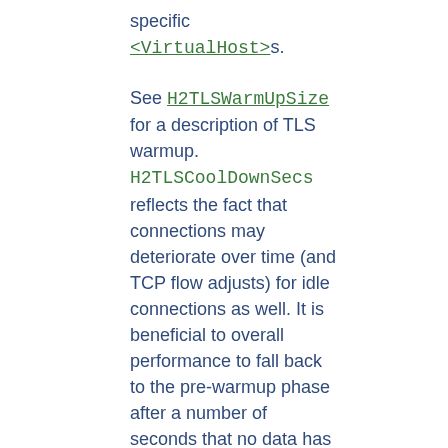specific <VirtualHost>s.
See H2TLSWarmUpSize for a description of TLS warmup. H2TLSCoolDownSecs reflects the fact that connections may deteriorate over time (and TCP flow adjusts) for idle connections as well. It is beneficial to overall performance to fall back to the pre-warmup phase after a number of seconds that no data has been sent.
In deployments where connections can be considered reliable, this timer can be disabled by setting it to 0.